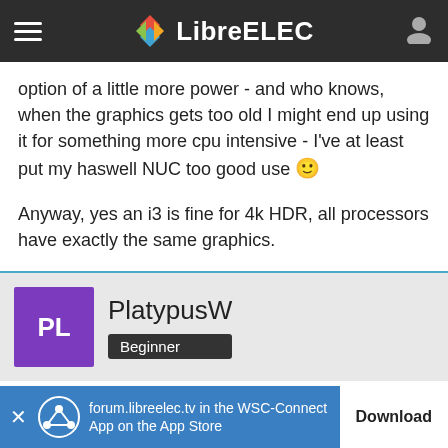LibreELEC
option of a little more power - and who knows, when the graphics gets too old I might end up using it for something more cpu intensive - I've at least put my haswell NUC too good use 🙂
Anyway, yes an i3 is fine for 4k HDR, all processors have exactly the same graphics.
PlatypusW
Beginner
Aug 23rd 2019
forum.libreelec.tv in the WSC-Connect App on the App Store